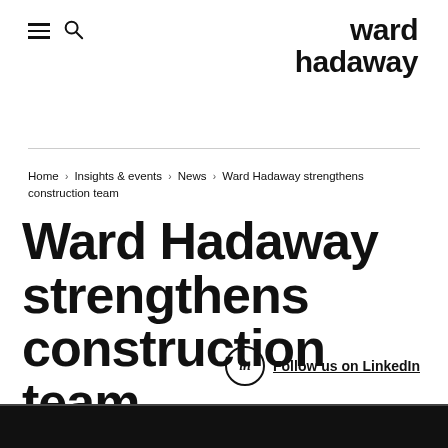ward hadaway
Home › Insights & events › News › Ward Hadaway strengthens construction team
Ward Hadaway strengthens construction team
Follow us on LinkedIn